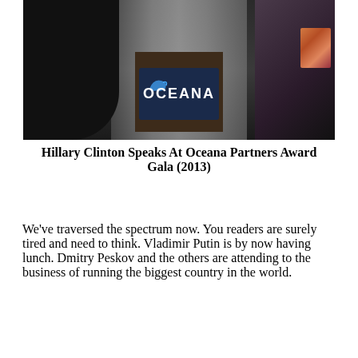[Figure (photo): Hillary Clinton speaking at a podium with the Oceana logo (dolphin graphic and 'OCEANA' text) at the Oceana Partners Award Gala. A dark-clad figure is on the right, and a black silhouette is on the left against white curtains in the background.]
Hillary Clinton Speaks At Oceana Partners Award Gala (2013)
We've traversed the spectrum now. You readers are surely tired and need to think. Vladimir Putin is by now having lunch. Dmitry Peskov and the others are attending to the business of running the biggest country in the world. Soo? Holmwood above here